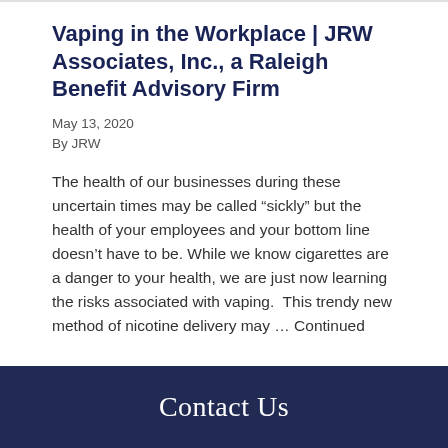Vaping in the Workplace | JRW Associates, Inc., a Raleigh Benefit Advisory Firm
May 13, 2020
By JRW
The health of our businesses during these uncertain times may be called “sickly” but the health of your employees and your bottom line doesn’t have to be. While we know cigarettes are a danger to your health, we are just now learning the risks associated with vaping.  This trendy new method of nicotine delivery may … Continued
Contact Us